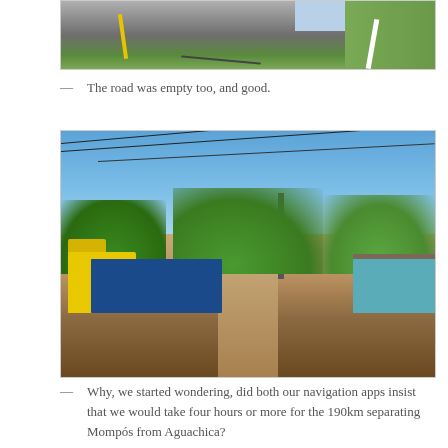[Figure (photo): Top portion of a photo showing an empty road with yellow center stripe and white edge stripe, with grass/vegetation on the right side. Light sky visible at top.]
— The road was empty too, and good.
[Figure (photo): A dirt/gravel road in a small Colombian town with a yellow freight truck on the left, green trees lining the road, power lines overhead, a utility pole in the center-background, and a turquoise/blue building on the right.]
— Why, we started wondering, did both our navigation apps insist that we would take four hours or more for the 190km separating Mompós from Aguachica?